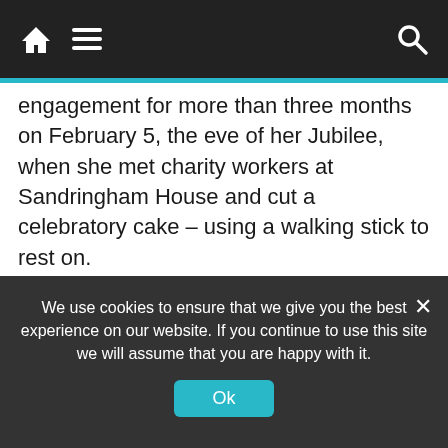Navigation bar with home icon, menu icon, and search icon
engagement for more than three months on February 5, the eve of her Jubilee, when she met charity workers at Sandringham House and cut a celebratory cake – using a walking stick to rest on.
And she admitted to feeling frail for the first time this week, but managed a smile as she returned to work at Windsor Castle, despite scandals engulfing Princes Charles and Andrew that threaten to overshadow her Jubilee year.
Her Majesty again leaned on a walking stick as she
We use cookies to ensure that we give you the best experience on our website. If you continue to use this site we will assume that you are happy with it.